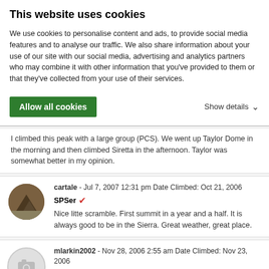This website uses cookies
We use cookies to personalise content and ads, to provide social media features and to analyse our traffic. We also share information about your use of our site with our social media, advertising and analytics partners who may combine it with other information that you've provided to them or that they've collected from your use of their services.
Allow all cookies
Show details ∨
I climbed this peak with a large group (PCS). We went up Taylor Dome in the morning and then climbed Siretta in the afternoon. Taylor was somewhat better in my opinion.
cartale - Jul 7, 2007 12:31 pm Date Climbed: Oct 21, 2006
SPSer ✔
Nice litte scramble. First summit in a year and a half. It is always good to be in the Sierra. Great weather, great place.
mlarkin2002 - Nov 28, 2006 2:55 am Date Climbed: Nov 23, 2006
From Big Meadow ✔